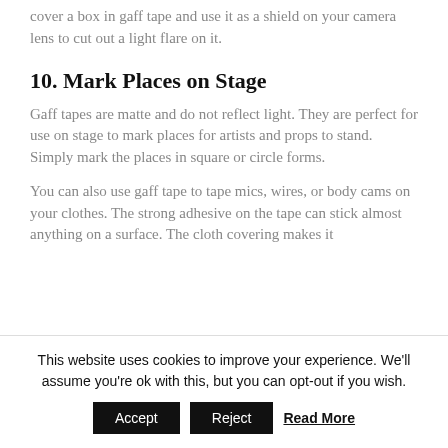cover a box in gaff tape and use it as a shield on your camera lens to cut out a light flare on it.
10. Mark Places on Stage
Gaff tapes are matte and do not reflect light. They are perfect for use on stage to mark places for artists and props to stand. Simply mark the places in square or circle forms.
You can also use gaff tape to tape mics, wires, or body cams on your clothes. The strong adhesive on the tape can stick almost anything on a surface. The cloth covering makes it
This website uses cookies to improve your experience. We'll assume you're ok with this, but you can opt-out if you wish.
Accept   Reject   Read More